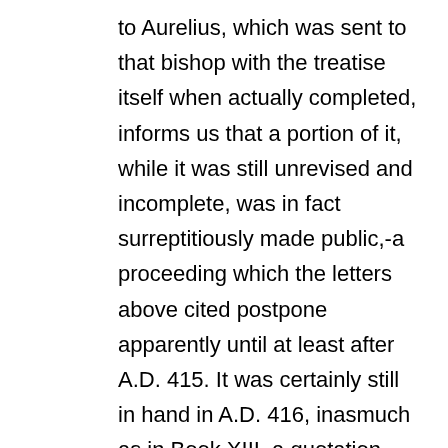to Aurelius, which was sent to that bishop with the treatise itself when actually completed, informs us that a portion of it, while it was still unrevised and incomplete, was in fact surreptitiously made public,-a proceeding which the letters above cited postpone apparently until at least after A.D. 415. It was certainly still in hand in A.D. 416, inasmuch as in Book XIII. a quotation occurs from the 12th Book of the De Civitate Dei; and another quotation in Book XV., from the 90th lecture on St. John, indicates most probably a date of at